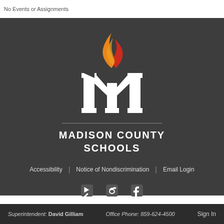No Events or Assignments
[Figure (logo): Madison County Schools logo: stylized white M with orange and red flame above it, on dark gray background, with horizontal rule and MADISON COUNTY SCHOOLS text below]
Accessibility | Notice of Nondiscrimination | Email Login
[Figure (illustration): Social media icons: share/arrow icon, Twitter bird icon, Facebook icon]
Superintendent: David Gilliam   Office Phone: 859-624-4500   Sign In